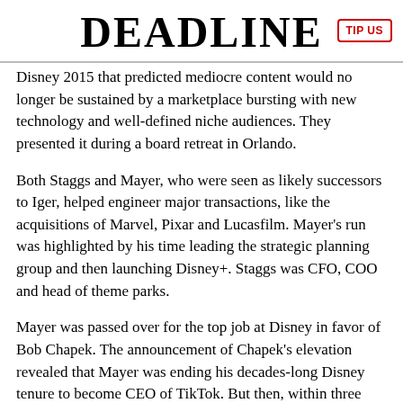DEADLINE
Disney 2015 that predicted mediocre content would no longer be sustained by a marketplace bursting with new technology and well-defined niche audiences. They presented it during a board retreat in Orlando.
Both Staggs and Mayer, who were seen as likely successors to Iger, helped engineer major transactions, like the acquisitions of Marvel, Pixar and Lucasfilm. Mayer’s run was highlighted by his time leading the strategic planning group and then launching Disney+. Staggs was CFO, COO and head of theme parks.
Mayer was passed over for the top job at Disney in favor of Bob Chapek. The announcement of Chapek’s elevation revealed that Mayer was ending his decades-long Disney tenure to become CEO of TikTok. But then, within three months, Mayer had left the Chinese-born social video platform amid heightened scrutiny by the Trump Administration and constant threats of a forced shutdown in the U.S. Along the way, Mayer also became chairman